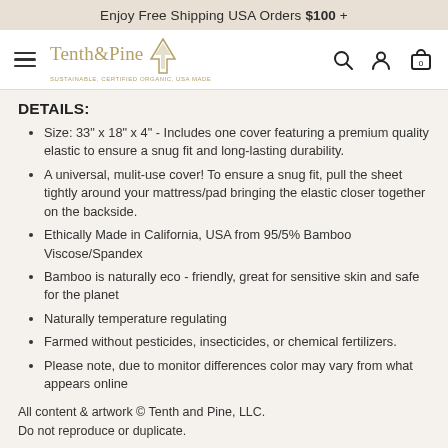Enjoy Free Shipping USA Orders $100 +
[Figure (logo): Tenth & Pine logo with arrow icon and tagline 'Sustainable, Certified Organic, USA Made', plus navigation icons (hamburger menu, search, account, cart with 0)]
DETAILS:
Size: 33" x 18" x 4" - Includes one cover featuring a premium quality elastic to ensure a snug fit and long-lasting durability.
A universal, mulit-use cover! To ensure a snug fit, pull the sheet tightly around your mattress/pad bringing the elastic closer together on the backside.
Ethically Made in California, USA from 95/5% Bamboo Viscose/Spandex
Bamboo is naturally eco - friendly, great for sensitive skin and safe for the planet
Naturally temperature regulating
Farmed without pesticides, insecticides, or chemical fertilizers.
Please note, due to monitor differences color may vary from what appears online
All content & artwork © Tenth and Pine, LLC.
Do not reproduce or duplicate.